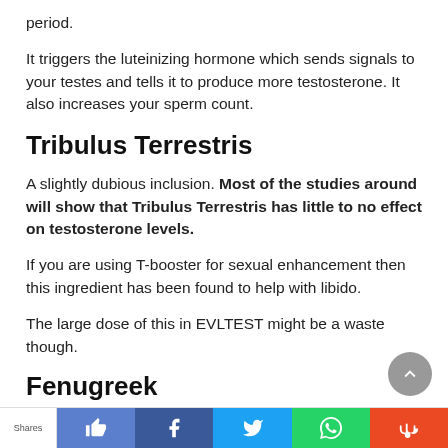period.
It triggers the luteinizing hormone which sends signals to your testes and tells it to produce more testosterone. It also increases your sperm count.
Tribulus Terrestris
A slightly dubious inclusion. Most of the studies around will show that Tribulus Terrestris has little to no effect on testosterone levels.
If you are using T-booster for sexual enhancement then this ingredient has been found to help with libido.
The large dose of this in EVLTEST might be a waste though.
Fenugreek